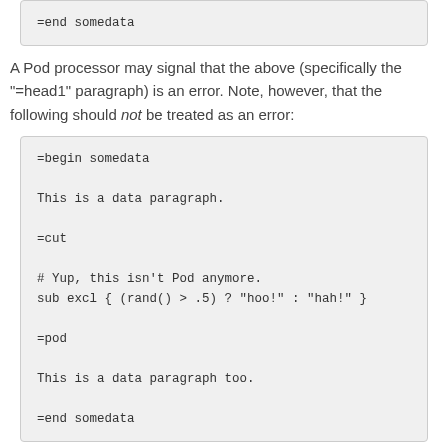=end somedata
A Pod processor may signal that the above (specifically the "=head1" paragraph) is an error. Note, however, that the following should not be treated as an error:
=begin somedata

This is a data paragraph.

=cut

# Yup, this isn't Pod anymore.
sub excl { (rand() > .5) ? "hoo!" : "hah!" }

=pod

This is a data paragraph too.

=end somedata
And this too is valid: